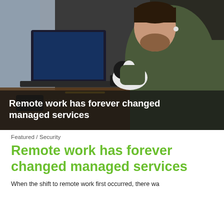[Figure (photo): A man with a beard and earbuds sits at a wooden desk working from home, leaning toward a laptop while holding a small black and white dog. A secondary keyboard and mouse are visible on the desk. Text overlay reads: 'Remote work has forever changed managed services'.]
Featured / Security
Remote work has forever changed managed services
When the shift to remote work first occurred, there wa...